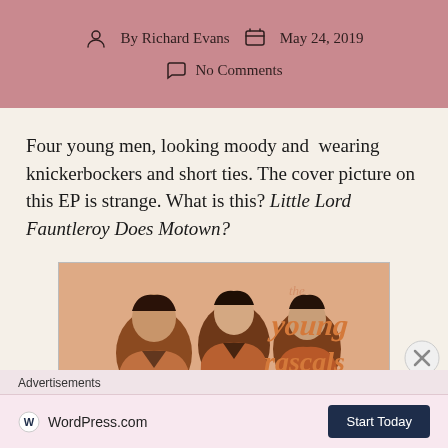By Richard Evans   May 24, 2019
No Comments
Four young men, looking moody and wearing knickerbockers and short ties. The cover picture on this EP is strange. What is this? Little Lord Fauntleroy Does Motown?
[Figure (photo): Album cover for 'The Young Rascals' showing three young men wearing orange/rust-colored outfits with short ties, with the band name 'the Young Rascals' in large stylized text on the right side]
Advertisements
[Figure (screenshot): WordPress.com advertisement banner with WordPress logo on left and 'Start Today' button on right]